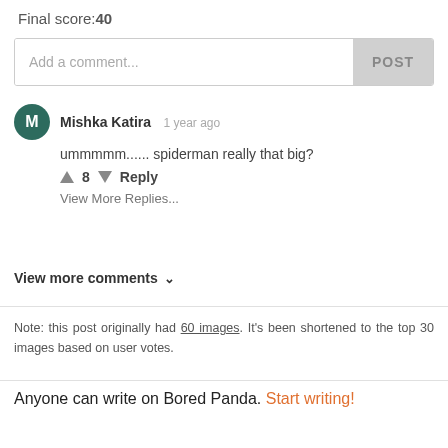Final score:40
Add a comment...
POST
Mishka Katira   1 year ago
ummmmm...... spiderman really that big?
8   Reply
View More Replies...
View more comments ∨
Note: this post originally had 60 images. It's been shortened to the top 30 images based on user votes.
Anyone can write on Bored Panda. Start writing!
[Figure (screenshot): Seamless food delivery advertisement banner with pizza image, red Seamless logo, and ORDER NOW button on dark background]